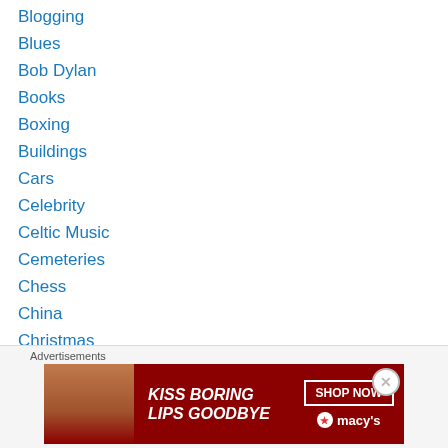Blogging
Blues
Bob Dylan
Books
Boxing
Buildings
Cars
Celebrity
Celtic Music
Cemeteries
Chess
China
Christmas
Civil Rights Movement
Classical Music
Cold War
[Figure (other): Macy's advertisement banner: KISS BORING LIPS GOODBYE with SHOP NOW button and Macy's star logo]